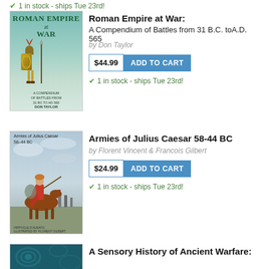1 in stock - ships Tue 23rd!
[Figure (photo): Book cover: Roman Empire at War by Don Taylor, showing a Roman soldier with shield and spear on a teal/green background]
Roman Empire at War:
A Compendium of Battles from 31 B.C. to A.D. 565
by Don Taylor
$44.99  ADD TO CART
1 in stock - ships Tue 23rd!
[Figure (photo): Book cover: Armies of Julius Caesar 58-44 BC by Florent Vincent & Francois Gilbert, showing a Roman cavalry soldier on horseback]
Armies of Julius Caesar 58-44 BC
by Florent Vincent & Francois Gilbert
$24.99  ADD TO CART
1 in stock - ships Tue 23rd!
[Figure (photo): Partial book cover: A Sensory History of Ancient Warfare, dark teal background]
A Sensory History of Ancient Warfare: